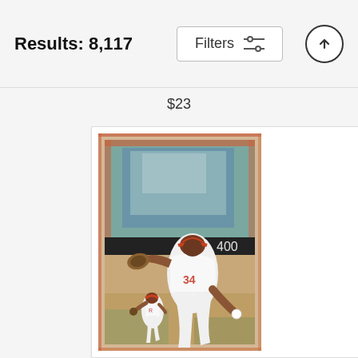Results: 8,117
Filters
$23
[Figure (illustration): A painting of a baseball pitcher in a white uniform with red number 34, mid-throw, with another player visible in the background. A scoreboard showing '400' is visible. The painting has an impressionistic style with loose brushwork.]